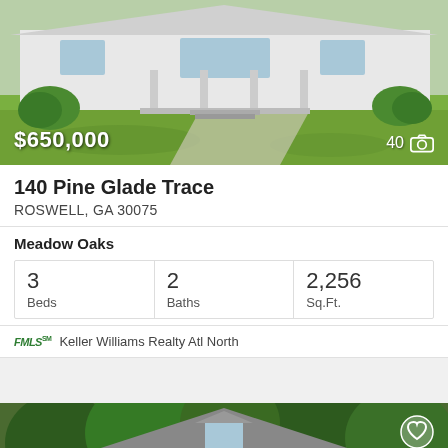[Figure (photo): Exterior front view of a white ranch-style house with green lawn]
$650,000
40 [camera icon]
140 Pine Glade Trace
ROSWELL, GA 30075
Meadow Oaks
| Beds | Baths | Sq.Ft. |
| --- | --- | --- |
| 3 | 2 | 2,256 |
FMLS™ Keller Williams Realty Atl North
[Figure (photo): Exterior front view of a two-story white house with dark shutters and trees in background]